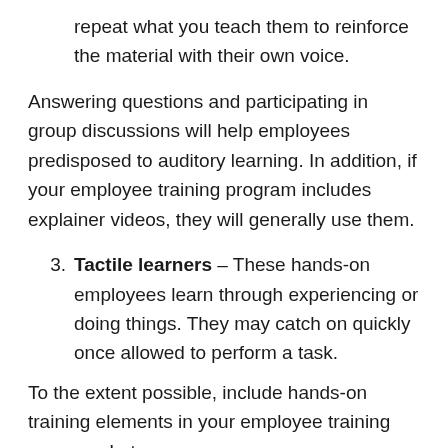repeat what you teach them to reinforce the material with their own voice.
Answering questions and participating in group discussions will help employees predisposed to auditory learning. In addition, if your employee training program includes explainer videos, they will generally use them.
Tactile learners – These hands-on employees learn through experiencing or doing things. They may catch on quickly once allowed to perform a task.
To the extent possible, include hands-on training elements in your employee training program. Let